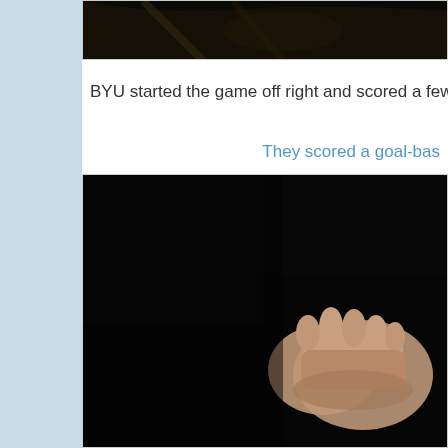[Figure (photo): Dark photo at the top, partially visible, appears to be an indoor sports or event scene with warm lighting]
BYU started the game off right and scored a few baskets as a c
They scored a goal-bas
[Figure (photo): Dark photo showing a hand/fist on a black background, appears to be a basketball-related image]